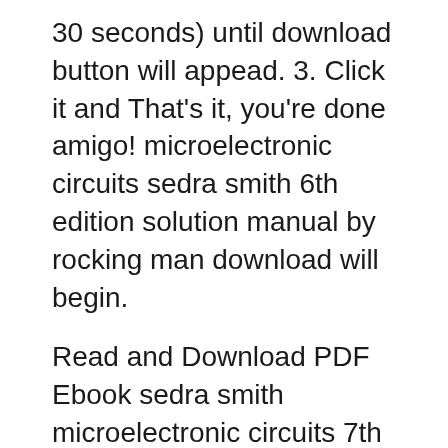30 seconds) until download button will appead. 3. Click it and That's it, you're done amigo! microelectronic circuits sedra smith 6th edition solution manual by rocking man download will begin.
Read and Download PDF Ebook sedra smith microelectronic circuits 7th edition at Online Ebook Library. Get sedra smith microelectronic circuits 7th edition PDF file for free from our online library Read and Download PDF Ebook sedra smith microelectronic circuits 7th edition at Online Ebook Library. Get sedra smith microelectronic circuits 7th edition PDF file for free from our online library